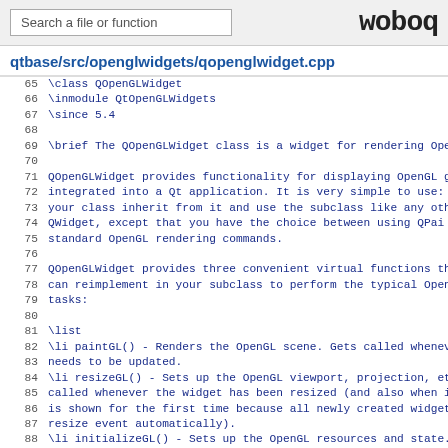Search a file or function | woboq
qtbase/src/openglwidgets/qopenglwidget.cpp
65  \class QOpenGLWidget
66  \inmodule QtOpenGLWidgets
67  \since 5.4
68
69  \brief The QOpenGLWidget class is a widget for rendering Ope
70
71  QOpenGLWidget provides functionality for displaying OpenGL g
72  integrated into a Qt application. It is very simple to use:
73  your class inherit from it and use the subclass like any oth
74  QWidget, except that you have the choice between using QPai
75  standard OpenGL rendering commands.
76
77  QOpenGLWidget provides three convenient virtual functions th
78  can reimplement in your subclass to perform the typical Open
79  tasks:
80
81  \list
82  \li paintGL() - Renders the OpenGL scene. Gets called whenev
83  needs to be updated.
84  \li resizeGL() - Sets up the OpenGL viewport, projection, et
85  called whenever the widget has been resized (and also when i
86  is shown for the first time because all newly created widget
87  resize event automatically).
88  \li initializeGL() - Sets up the OpenGL resources and state.
89  once before the first time resizeGL() or paintGL() is calle
90  \endlist